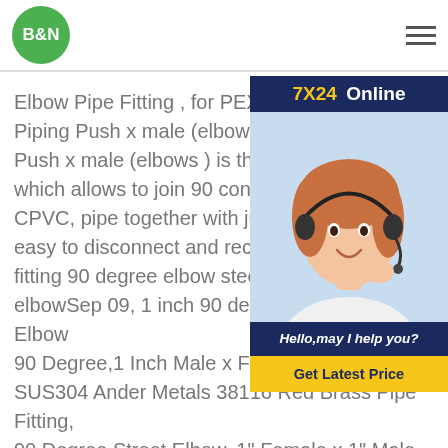B&N
[Figure (infographic): 7X24 Online customer support widget with photo of a woman with headset and 'Hello, may I help you?' message and 'Get Latest Price' button]
Elbow Pipe Fitting , for PEX Copper and Piping Push x male (elbows ) is the easiest Push x male (elbows ) is the easiest pl which allows to join 90 connections to CPVC, pipe together with just one fitting easy to disconnect and reconfigure the fitting 90 degree elbow steels 1 inch 90 elbowSep 09, 1 inch 90 degree elbow Street Elbow 90 Degree,1 Inch Male x Female NPT Thread SUS304 Ander Metals 38116 Red Brass Pipe Fitting, 90 Degree Street Elbow, 1" Female x 1" Male Spears 1406 Series PVC Tube Fitting, 90 Degree Elbow, Schedule 40, Gray, 1" Barbed Ander Metals 38100